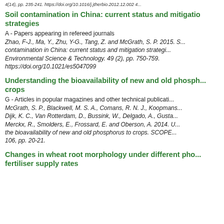4(14), pp. 235-241. https://doi.org/10.1016/j.jtherbio.2012.12.002 4...
Soil contamination in China: current status and mitigation strategies
A - Papers appearing in refereed journals
Zhao, F-J., Ma, Y., Zhu, Y-G., Tang, Z. and McGrath, S. P. 2015. S... contamination in China: current status and mitigation strategi... Environmental Science & Technology. 49 (2), pp. 750-759. https://doi.org/10.1021/es5047099
Understanding the bioavailability of new and old phosphorus to crops
G - Articles in popular magazines and other technical publications
McGrath, S. P., Blackwell, M. S. A., Comans, R. N. J., Koopmans... Dijk, K. C., Van Rotterdam, D., Bussink, W., Delgado, A., Gusta... Merckx, R., Smolders, E., Frossard, E. and Oberson, A. 2014. U... the bioavailability of new and old phosphorus to crops. SCOPE... 106, pp. 20-21.
Changes in wheat root morphology under different phosphorus fertiliser supply rates